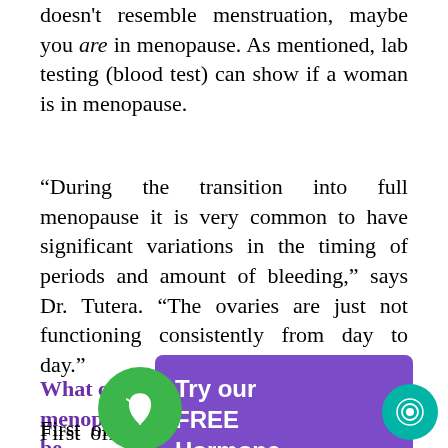doesn't resemble menstruation, maybe you are in menopause. As mentioned, lab testing (blood test) can show if a woman is in menopause.
“During the transition into full menopause it is very common to have significant variations in the timing of periods and amount of bleeding,” says Dr. Tutera. “The ovaries are just not functioning consistently from day to day.”
What could [cause] bleeding during menopause be [dangerous]?
[Figure (other): Purple rounded rectangle popup box with white text reading: Try our FREE Hormone Quiz]
[Figure (other): Green circle with white leaf/plant icon]
First off, it [has] nothing to do with “the change.” Causes include: benign uterine or cervical polyps, endometrial thinning,
[Figure (other): Teal circle with white concentric rings icon, bottom right corner]